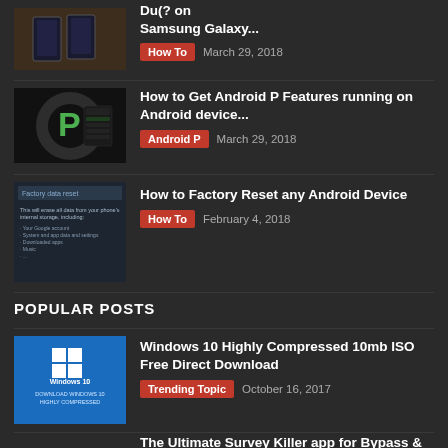[Figure (photo): Samsung Galaxy phones thumbnail (partially visible at top)]
Du(? on Samsung Galaxy...
How To   March 29, 2018
[Figure (photo): Android P logo on dark background]
How to Get Android P Features running on Android device...
Android P   March 29, 2018
[Figure (screenshot): Factory data reset screen on Android]
How to Factory Reset any Android Device
How To   February 4, 2018
POPULAR POSTS
[Figure (screenshot): Windows 10 Highly Compressed download thumbnail on blue background]
Windows 10 Highly Compressed 10mb ISO Free Direct Download
Trending Topic   October 16, 2017
The Ultimate Survey Killer app for Bypass &